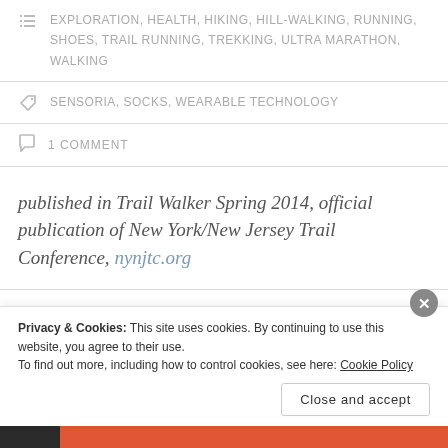EXPLORATION, HEALTH, HIKING, HILL-WALKING, RUNNING, SHOES, TRAIL RUNNING, TREKKING, ULTRA MARATHON, WALKING
SENSORIA, SOCKS, WEARABLE TECHNOLOGY
1 COMMENT
published in Trail Walker Spring 2014, official publication of New York/New Jersey Trail Conference, nynjtc.org
Privacy & Cookies: This site uses cookies. By continuing to use this website, you agree to their use.
To find out more, including how to control cookies, see here: Cookie Policy
Close and accept